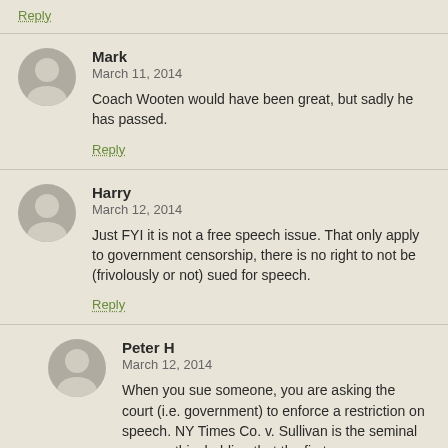Reply
Mark
March 11, 2014
Coach Wooten would have been great, but sadly he has passed.
Reply
Harry
March 12, 2014
Just FYI it is not a free speech issue. That only apply to government censorship, there is no right to not be (frivolously or not) sued for speech.
Reply
Peter H
March 12, 2014
When you sue someone, you are asking the court (i.e. government) to enforce a restriction on speech. NY Times Co. v. Sullivan is the seminal case on this, holding that the first